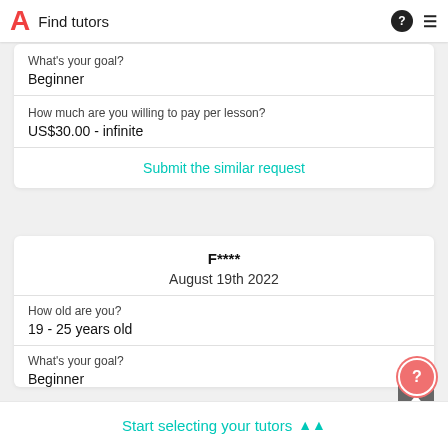Find tutors
What's your goal?
Beginner
How much are you willing to pay per lesson?
US$30.00 - infinite
Submit the similar request
F****
August 19th 2022
How old are you?
19 - 25 years old
What's your goal?
Beginner
Start selecting your tutors